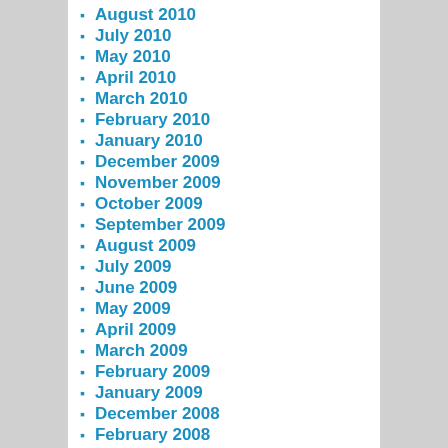August 2010
July 2010
May 2010
April 2010
March 2010
February 2010
January 2010
December 2009
November 2009
October 2009
September 2009
August 2009
July 2009
June 2009
May 2009
April 2009
March 2009
February 2009
January 2009
December 2008
February 2008